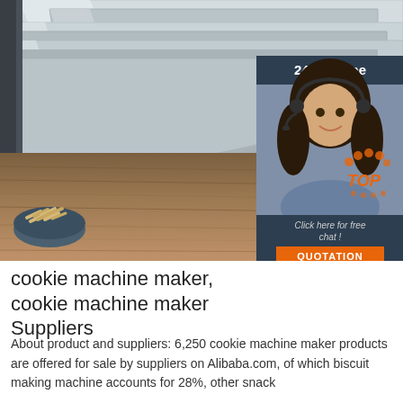[Figure (photo): Photo of stainless steel baking trays stacked diagonally, with a bowl of biscuits on a wooden surface in the lower left. An online chat widget with a woman wearing a headset is overlaid on the right side, with '24/7 Online' header, 'Click here for free chat!' text, and an orange 'QUOTATION' button.]
cookie machine maker, cookie machine maker Suppliers
About product and suppliers: 6,250 cookie machine maker products are offered for sale by suppliers on Alibaba.com, of which biscuit making machine accounts for 28%, other snack